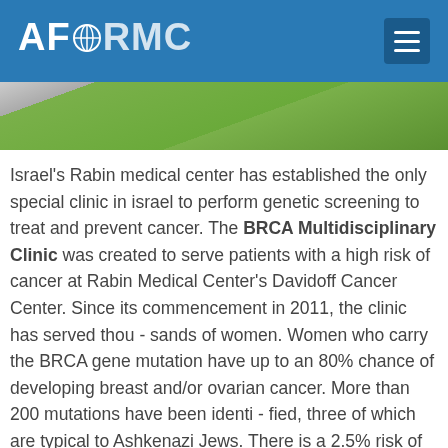AFORMC
[Figure (photo): Outdoor photo strip showing a path and green grass/lawn area, used as a decorative header banner.]
Israel's Rabin medical center has established the only special clinic in israel to perform genetic screening to treat and prevent cancer. The BRCA Multidisciplinary Clinic was created to serve patients with a high risk of cancer at Rabin Medical Center's Davidoff Cancer Center. Since its commencement in 2011, the clinic has served thou - sands of women. Women who carry the BRCA gene mutation have up to an 80% chance of developing breast and/or ovarian cancer. More than 200 mutations have been identi - fied, three of which are typical to Ashkenazi Jews. There is a 2.5% risk of carrying this mutation. One out of every forty Jewish Ashkenazi women is a carrier and has a high probability of developing cancer. At the same time, the